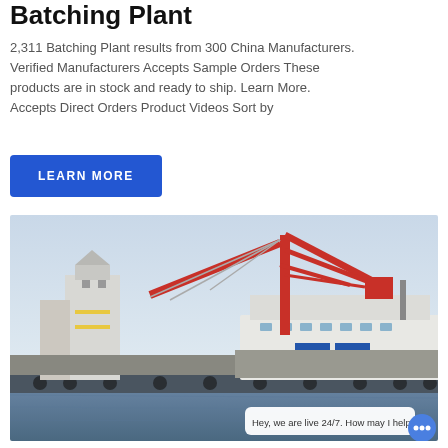Batching Plant
2,311 Batching Plant results from 300 China Manufacturers. Verified Manufacturers Accepts Sample Orders These products are in stock and ready to ship. Learn More. Accepts Direct Orders Product Videos Sort by
LEARN MORE
[Figure (photo): A large industrial batching plant or concrete mixing facility on a barge/dock, with a prominent red crane/lifting structure overhead. White industrial buildings visible on the left. A chat widget overlay shows 'Hey, we are live 24/7. How may I help you?' at the bottom right.]